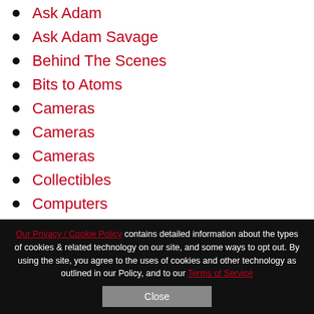Ask Adam
Ask Adam Savage
Behind The Scenes
Bits to Atoms
Cameras
Cameras
Cameras
Collectibles
Computers
Our Privacy / Cookie Policy contains detailed information about the types of cookies & related technology on our site, and some ways to opt out. By using the site, you agree to the uses of cookies and other technology as outlined in our Policy, and to our Terms of Service